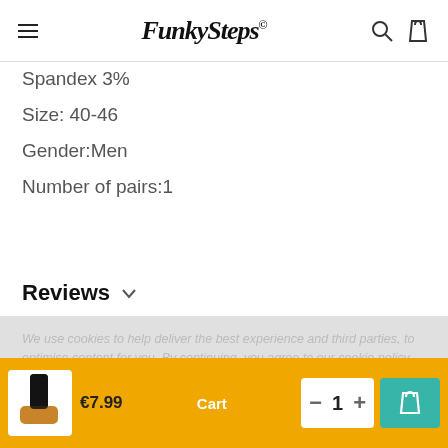FunkySteps (logo and navigation)
Spandex 3%
Size: 40-46
Gender:Men
Number of pairs:1
Reviews
We use cookies to help deliver the best experience and third parties, to optimise content for you. By continuing, you agree to our cookie policy.
€7.99  Cart  — 1 +  [cart icon]